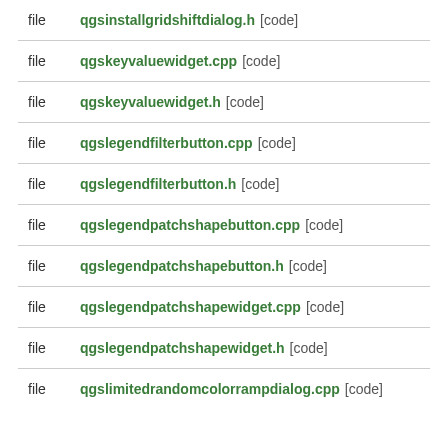file  qgsinstallgridshiftdialog.h [code]
file  qgskeyvaluewidget.cpp [code]
file  qgskeyvaluewidget.h [code]
file  qgslegendfilterbutton.cpp [code]
file  qgslegendfilterbutton.h [code]
file  qgslegendpatchshapebutton.cpp [code]
file  qgslegendpatchshapebutton.h [code]
file  qgslegendpatchshapewidget.cpp [code]
file  qgslegendpatchshapewidget.h [code]
file  qgslimitedrandomcolorrampdialog.cpp [code]